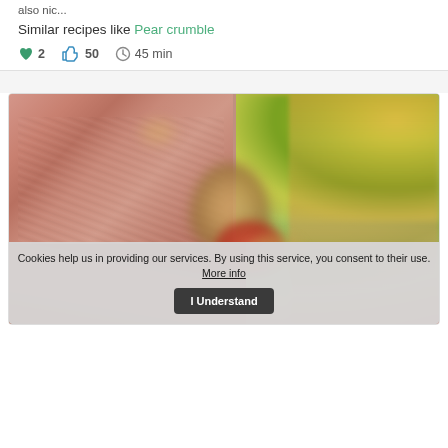also nic...
Similar recipes like Pear crumble
2  50  45 min
[Figure (photo): Close-up photo of sliced meat (ham or roast) in the foreground with blurred vegetables and colorful produce in the background]
Cookies help us in providing our services. By using this service, you consent to their use. More info  I Understand